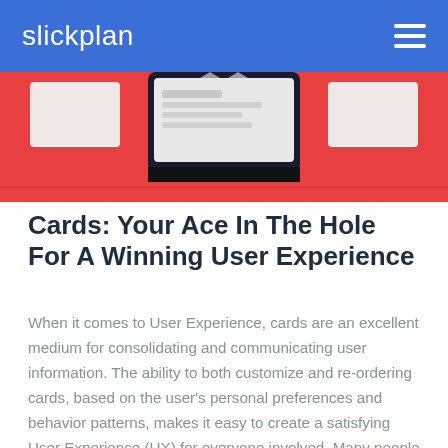slickplan
[Figure (illustration): Hero image showing a mobile device/tablet on a red background with white UI card elements visible]
Cards: Your Ace In The Hole For A Winning User Experience
When it comes to User Experience, cards are an excellent medium for consolidating and communicating user information. The ability to both customize and re-ordering cards, based on the user's personal preferences and behavior patterns, makes it easy to create a satisfying User Experience (UX) for everyone involved. Many people think of playing cards when you mention the word 'cards'; but generally speaking, cards have been an information dissemination device